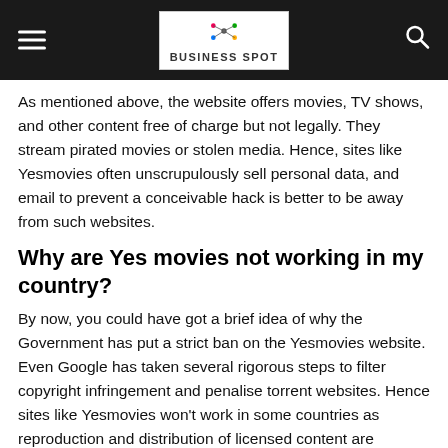Business Spot
As mentioned above, the website offers movies, TV shows, and other content free of charge but not legally. They stream pirated movies or stolen media. Hence, sites like Yesmovies often unscrupulously sell personal data, and email to prevent a conceivable hack is better to be away from such websites.
Why are Yes movies not working in my country?
By now, you could have got a brief idea of why the Government has put a strict ban on the Yesmovies website. Even Google has taken several rigorous steps to filter copyright infringement and penalise torrent websites. Hence sites like Yesmovies won't work in some countries as reproduction and distribution of licensed content are misdemeanours.